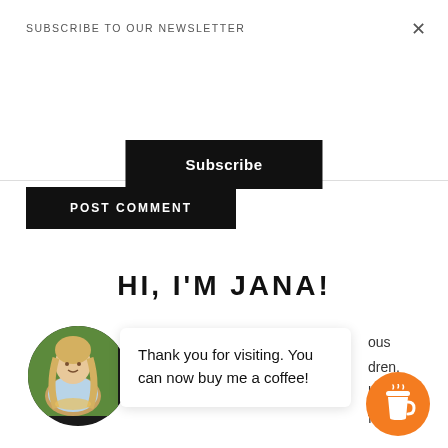SUBSCRIBE TO OUR NEWSLETTER
×
Subscribe
POST COMMENT
HI, I'M JANA!
[Figure (photo): Circular profile photo of a blonde woman in a light blue top holding a dish]
Thank you for visiting. You can now buy me a coffee!
ous
dren,
lusband
fo
[Figure (illustration): Orange circular coffee cup button widget]